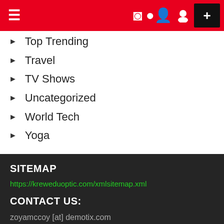Navigation bar with hamburger menu, moon icon, user icon, and plus button
Top Trending
Travel
TV Shows
Uncategorized
World Tech
Yoga
SITEMAP
https://kreweduoptic.com/xmlsitemap.xml
CONTACT US:
zoyamccoy [at] demotix.com